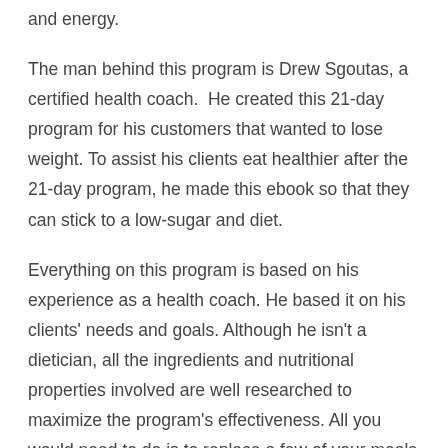and energy.
The man behind this program is Drew Sgoutas, a certified health coach. He created this 21-day program for his customers that wanted to lose weight. To assist his clients eat healthier after the 21-day program, he made this ebook so that they can stick to a low-sugar and diet.
Everything on this program is based on his experience as a health coach. He based it on his clients' needs and goals. Although he isn't a dietician, all the ingredients and nutritional properties involved are well researched to maximize the program's effectiveness. All you would need to do is to replace a few of your meals with the smoothie recipes he'd supplied.
To keep the weight you've lost from coming back, the ingredient to nutrient ratios are varied week per week. Just stick to the particular frequency and sequence when you consume the smoothie.